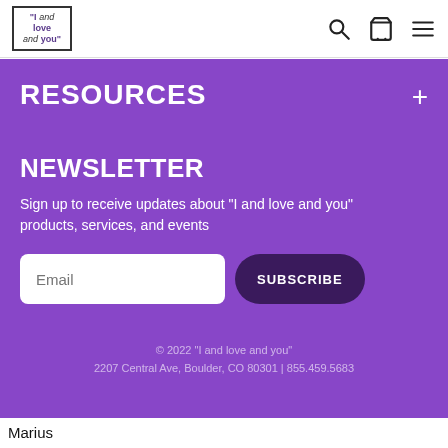"I and love and you" logo with search, cart, and menu icons
RESOURCES
NEWSLETTER
Sign up to receive updates about "I and love and you" products, services, and events
© 2022 "I and love and you"
2207 Central Ave, Boulder, CO 80301 | 855.459.5683
Marius